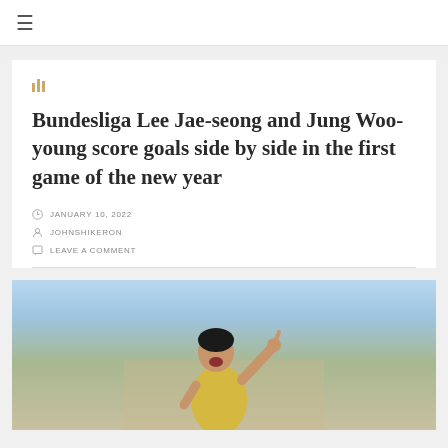☰
Bundesliga Lee Jae-seong and Jung Woo-young score goals side by side in the first game of the new year
JANUARY 10, 2022
JOHNSHIKERON
LEAVE A COMMENT
[Figure (photo): Photograph of a celebrating Korean soccer player with arm raised, mouth open in celebration, wearing a yellow jersey, stadium background with blue stands]